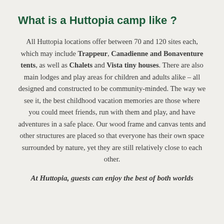What is a Huttopia camp like ?
All Huttopia locations offer between 70 and 120 sites each, which may include Trappeur, Canadienne and Bonaventure tents, as well as Chalets and Vista tiny houses. There are also main lodges and play areas for children and adults alike – all designed and constructed to be community-minded. The way we see it, the best childhood vacation memories are those where you could meet friends, run with them and play, and have adventures in a safe place. Our wood frame and canvas tents and other structures are placed so that everyone has their own space surrounded by nature, yet they are still relatively close to each other.
At Huttopia, guests can enjoy the best of both worlds